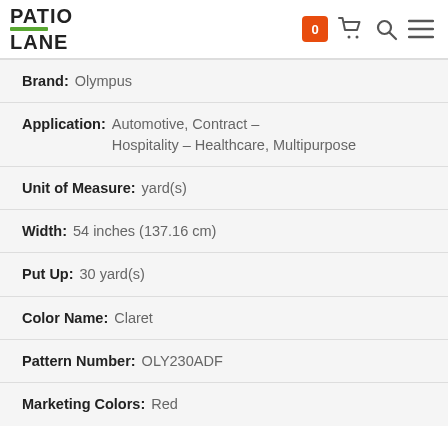PATIO LANE
Brand: Olympus
Application: Automotive, Contract - Hospitality - Healthcare, Multipurpose
Unit of Measure: yard(s)
Width: 54 inches (137.16 cm)
Put Up: 30 yard(s)
Color Name: Claret
Pattern Number: OLY230ADF
Marketing Colors: Red